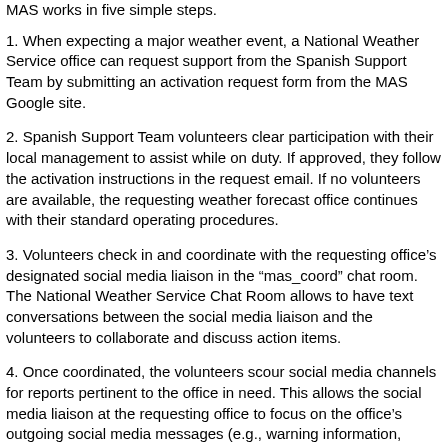MAS works in five simple steps.
1. When expecting a major weather event, a National Weather Service office can request support from the Spanish Support Team by submitting an activation request form from the MAS Google site.
2. Spanish Support Team volunteers clear participation with their local management to assist while on duty. If approved, they follow the activation instructions in the request email. If no volunteers are available, the requesting weather forecast office continues with their standard operating procedures.
3. Volunteers check in and coordinate with the requesting office's designated social media liaison in the “mas_coord” chat room. The National Weather Service Chat Room allows to have text conversations between the social media liaison and the volunteers to collaborate and discuss action items.
4. Once coordinated, the volunteers scour social media channels for reports pertinent to the office in need. This allows the social media liaison at the requesting office to focus on the office’s outgoing social media messages (e.g., warning information, forecast changes, storm details). National Weather Service volunteers will also be available to help with Spanish television and radio interviews.